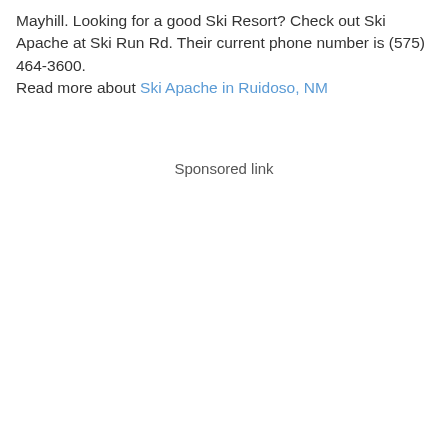Mayhill. Looking for a good Ski Resort? Check out Ski Apache at Ski Run Rd. Their current phone number is (575) 464-3600. Read more about Ski Apache in Ruidoso, NM
Sponsored link